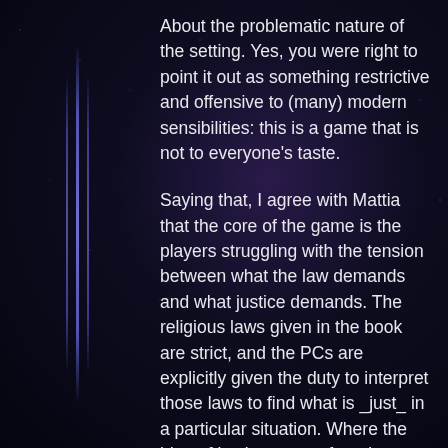About the problematic nature of the setting. Yes, you were right to point it out as something restrictive and offensive to (many) modern sensibilities: this is a game that is not to everyone's taste.
Saying that, I agree with Mattia that the core of the game is the players struggling with the tension between what the law demands and what justice demands. The religious laws given in the book are strict, and the PCs are explicitly given the duty to interpret those laws to find what is _just_ in a particular situation. Where the idea of justice comes form is deliberately unclear: it